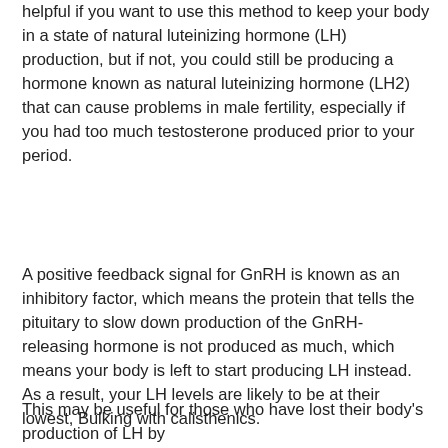helpful if you want to use this method to keep your body in a state of natural luteinizing hormone (LH) production, but if not, you could still be producing a hormone known as natural luteinizing hormone (LH2) that can cause problems in male fertility, especially if you had too much testosterone produced prior to your period.
A positive feedback signal for GnRH is known as an inhibitory factor, which means the protein that tells the pituitary to slow down production of the GnRH-releasing hormone is not produced as much, which means your body is left to start producing LH instead. As a result, your LH levels are likely to be at their lowest, Bulking with calisthenics.
This may be useful for those who have lost their body's production of LH by